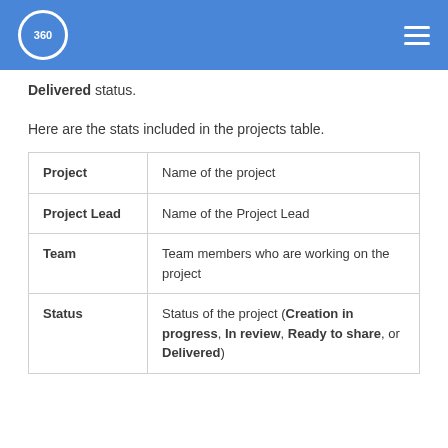360
Delivered status.
Here are the stats included in the projects table.
| Column | Description |
| --- | --- |
| Project | Name of the project |
| Project Lead | Name of the Project Lead |
| Team | Team members who are working on the project |
| Status | Status of the project (Creation in progress, In review, Ready to share, or Delivered) |